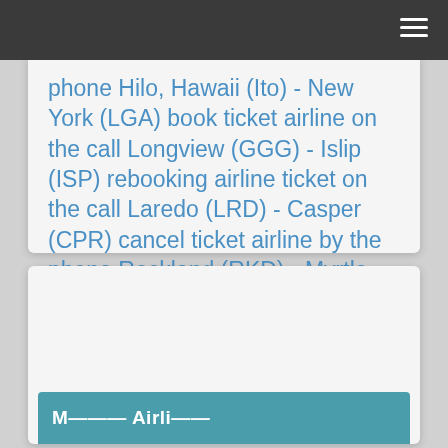phone Hilo, Hawaii (Ito) - New York (LGA) book ticket airline on the call Longview (GGG) - Islip (ISP) rebooking airline ticket on the call Laredo (LRD) - Casper (CPR) cancel ticket airline by the phone Rockland (RKD) - Myrtle Beach (MYR)